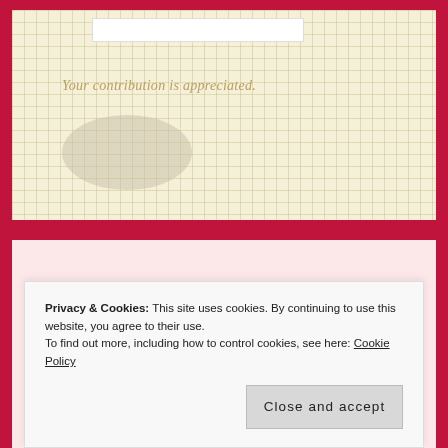[Figure (screenshot): Grid paper background with faint text 'Your contribution is appreciated.' and a blob/oval shape, plus a white input box at top]
Your contribution is appreciated.
School Visits
Privacy & Cookies: This site uses cookies. By continuing to use this website, you agree to their use.
To find out more, including how to control cookies, see here: Cookie Policy
Close and accept